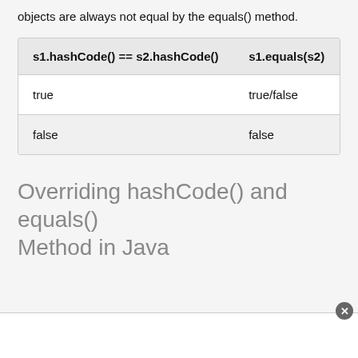c). If the hashcode of the objects is not equal, then the objects are always not equal by the equals() method.
| s1.hashCode() == s2.hashCode() | s1.equals(s2) |
| --- | --- |
| true | true/false |
| false | false |
Overriding hashCode() and equals() Method in Java